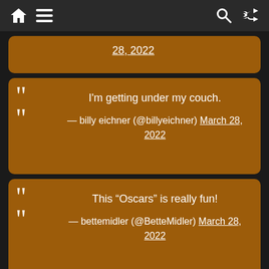Navigation bar with home, menu, search, and shuffle icons
28, 2022
I'm getting under my couch. — billy eichner (@billyeichner) March 28, 2022
This “Oscars” is really fun! — bettemidler (@BetteMidler) March 28, 2022